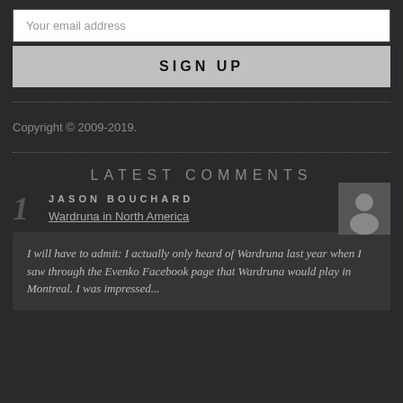Your email address
SIGN UP
Copyright © 2009-2019.
LATEST COMMENTS
JASON BOUCHARD
Wardruna in North America
I will have to admit: I actually only heard of Wardruna last year when I saw through the Evenko Facebook page that Wardruna would play in Montreal. I was impressed...